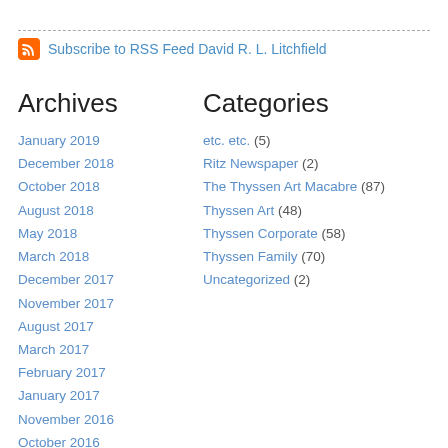Subscribe to RSS Feed David R. L. Litchfield
Archives
January 2019
December 2018
October 2018
August 2018
May 2018
March 2018
December 2017
November 2017
August 2017
March 2017
February 2017
January 2017
November 2016
October 2016
September 2016
July 2016
June 2016
April 2016
February 2016
January 2016
November 2015
Categories
etc. etc. (5)
Ritz Newspaper (2)
The Thyssen Art Macabre (87)
Thyssen Art (48)
Thyssen Corporate (58)
Thyssen Family (70)
Uncategorized (2)